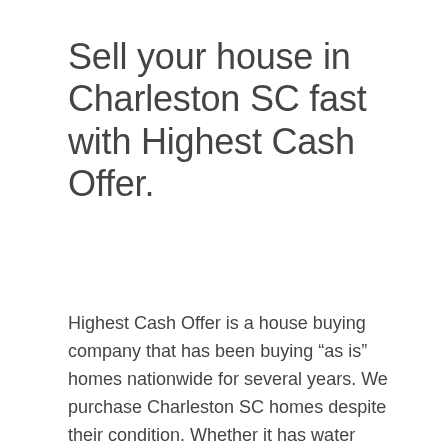Sell your house in Charleston SC fast with Highest Cash Offer.
Highest Cash Offer is a house buying company that has been buying “as is” homes nationwide for several years. We purchase Charleston SC homes despite their condition. Whether it has water damage, needs work or is move-in prepared, Highest Cash Offer can offer you with a no-obligation money offer on your house. Considering that we buy homes as-is for money, you don’t need to clean, make expensive repairs or even paint. We do not utilize banks or home loan businesses so we can purchase homes in any area, price range or condition. No matter why you are aiming to sell